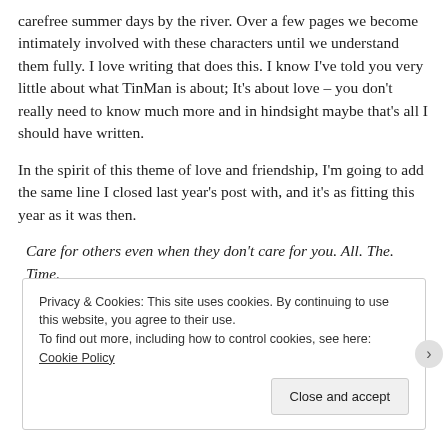carefree summer days by the river. Over a few pages we become intimately involved with these characters until we understand them fully. I love writing that does this. I know I've told you very little about what TinMan is about; It's about love – you don't really need to know much more and in hindsight maybe that's all I should have written.
In the spirit of this theme of love and friendship, I'm going to add the same line I closed last year's post with, and it's as fitting this year as it was then.
Care for others even when they don't care for you. All. The. Time.
Privacy & Cookies: This site uses cookies. By continuing to use this website, you agree to their use.
To find out more, including how to control cookies, see here: Cookie Policy
Close and accept